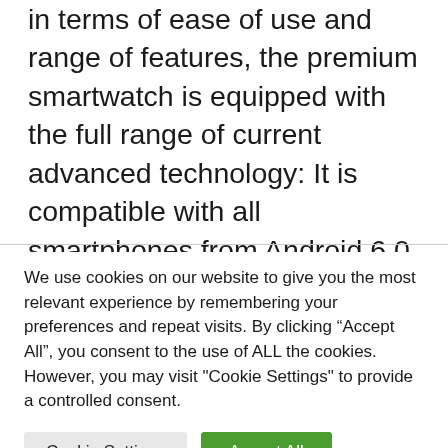in terms of ease of use and range of features, the premium smartwatch is equipped with the full range of current advanced technology: It is compatible with all smartphones from Android 6.0, Harmony OS 2 or iOS 9.0 and can be quickly connected using the current Bluetooth 5.2 standard and connect them to the devices in an energy-saving way. The 46 mm version of the HUAWEI Watch GT 3 Pro is equipped with
We use cookies on our website to give you the most relevant experience by remembering your preferences and repeat visits. By clicking “Accept All”, you consent to the use of ALL the cookies. However, you may visit "Cookie Settings" to provide a controlled consent.